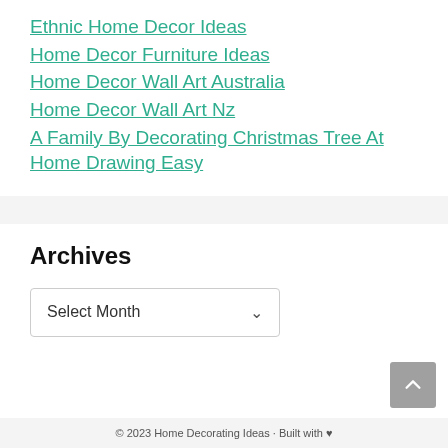Ethnic Home Decor Ideas
Home Decor Furniture Ideas
Home Decor Wall Art Australia
Home Decor Wall Art Nz
A Family By Decorating Christmas Tree At Home Drawing Easy
Archives
Select Month